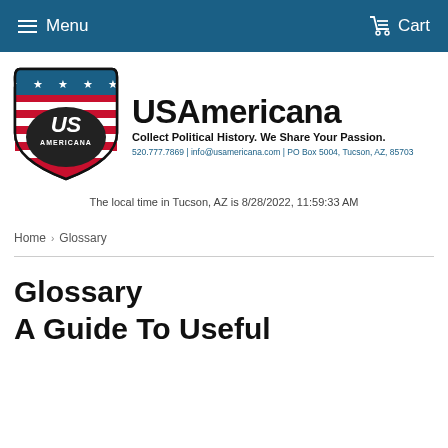Menu   Cart
[Figure (logo): USAmericana shield logo with stars, stripes, and 'US AMERICANA' text]
USAmericana
Collect Political History. We Share Your Passion.
520.777.7869 | info@usamericana.com | PO Box 5004, Tucson, AZ, 85703
The local time in Tucson, AZ is 8/28/2022, 11:59:33 AM
Home › Glossary
Glossary
A Guide To Useful